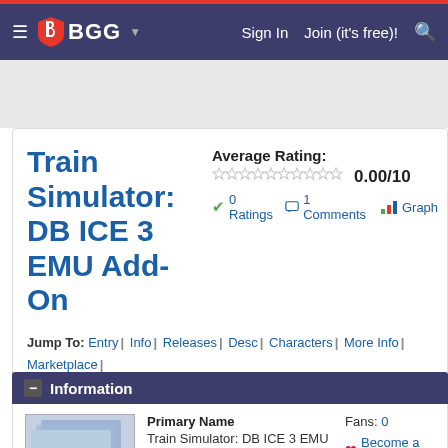BGG — Sign In | Join (it's free)!
Train Simulator: DB ICE 3 EMU Add-On
Average Rating: 0.00/10 — 0 Ratings | 1 Comments | Graph
Jump To: Entry | Info | Releases | Desc | Characters | More Info | Marketplace | Linked Forums | Blogs | Files | GeekLists | Stats | Linked Items | Web Links | Ta
Information
Primary Name: Train Simulator: DB ICE 3 EMU Add-On
Fans: 0 — Become a Fan